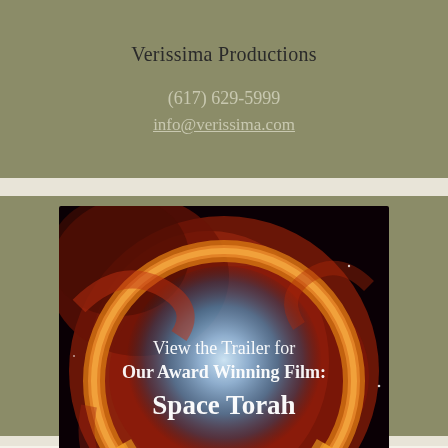Verissima Productions
(617) 629-5999
info@verissima.com
[Figure (photo): Nebula image (helix/ring nebula) with text overlay: 'View the Trailer for Our Award Winning Film: Space Torah']
Subscribe to Our Monthly Newsletter